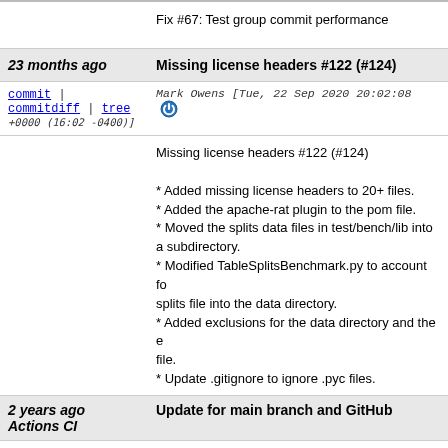Fix #67: Test group commit performance
23 months ago | Missing license headers #122 (#124)
commit | commitdiff | tree  Mark Owens [Tue, 22 Sep 2020 20:02:08 +0000 (16:02 -0400)]
Missing license headers #122 (#124)

* Added missing license headers to 20+ files.
* Added the apache-rat plugin to the pom file.
* Moved the splits data files in test/bench/lib into a subdirectory.
* Modified TableSplitsBenchmark.py to account for splits file into the data directory.
* Added exclusions for the data directory and the e file.
* Update .gitignore to ignore .pyc files.
2 years ago | Update for main branch and GitHub Actions CI
commit | commitdiff | tree  Christopher Tubbs [Tue, 11 Aug 2020 13:27:41 +0000 (09:27 -0400)]
Update for main branch and GitHub Actions CI